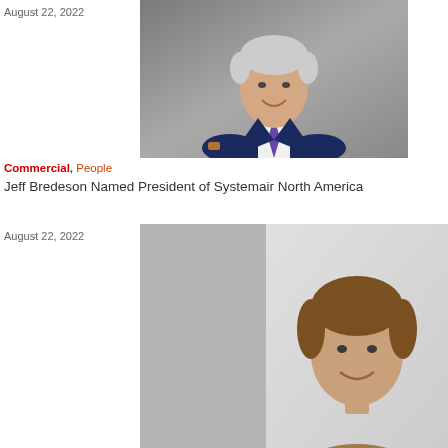August 22, 2022
[Figure (photo): Professional headshot of Jeff Bredeson, a silver-haired man in a navy suit with arms crossed, against a grey background]
Commercial, People
Jeff Bredeson Named President of Systemair North America
August 22, 2022
[Figure (photo): Professional headshot of a man with brown hair, smiling, against a grey background, partially visible]